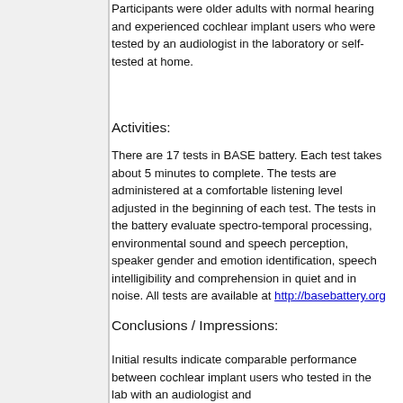Participants were older adults with normal hearing and experienced cochlear implant users who were tested by an audiologist in the laboratory or self-tested at home.
Activities:
There are 17 tests in BASE battery. Each test takes about 5 minutes to complete. The tests are administered at a comfortable listening level adjusted in the beginning of each test. The tests in the battery evaluate spectro-temporal processing, environmental sound and speech perception, speaker gender and emotion identification, speech intelligibility and comprehension in quiet and in noise. All tests are available at http://basebattery.org
Conclusions / Impressions:
Initial results indicate comparable performance between cochlear implant users who tested in the lab with an audiologist and those who self-tested at home following...